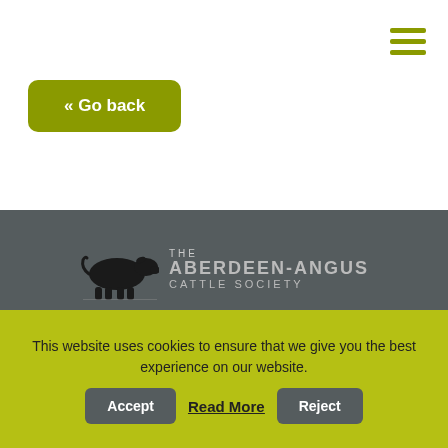[Figure (logo): Hamburger menu icon with three horizontal olive/yellow-green lines in top right corner]
« Go back
[Figure (logo): The Aberdeen-Angus Cattle Society logo: black silhouette of a bull with text 'THE ABERDEEN-ANGUS CATTLE SOCIETY']
Pedigree House,
6 Kings Place,
This website uses cookies to ensure that we give you the best experience on our website.
Accept
Read More
Reject